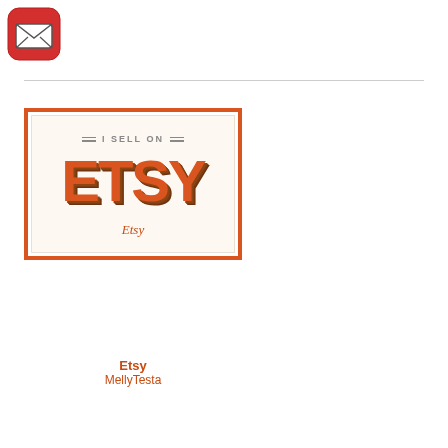[Figure (logo): Red rounded square icon with white envelope/letter symbol inside]
[Figure (illustration): Etsy seller badge: orange-bordered card with 'I SELL ON' text and large 3D-style ETSY lettering on cream background, with 'Etsy' label below]
Etsy
MellyTesta